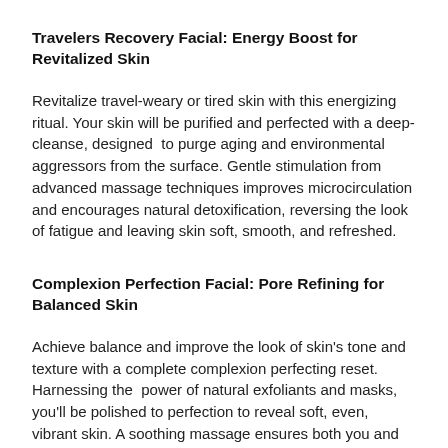Travelers Recovery Facial: Energy Boost for Revitalized Skin
Revitalize travel-weary or tired skin with this energizing ritual. Your skin will be purified and perfected with a deep-cleanse, designed  to purge aging and environmental aggressors from the surface. Gentle stimulation from advanced massage techniques improves microcirculation and encourages natural detoxification, reversing the look of fatigue and leaving skin soft, smooth, and refreshed.
Complexion Perfection Facial: Pore Refining for Balanced Skin
Achieve balance and improve the look of skin's tone and texture with a complete complexion perfecting reset. Harnessing the  power of natural exfoliants and masks, you'll be polished to perfection to reveal soft, even, vibrant skin. A soothing massage ensures both you and your skin are left feeling...